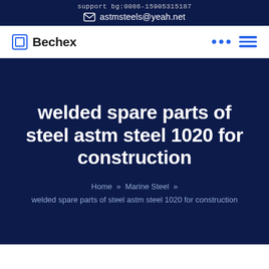support bg:0086-15905315187
astmsteels@yeah.net
Bechex
welded spare parts of steel astm steel 1020 for construction
Home » Marine Steel » welded spare parts of steel astm steel 1020 for construction